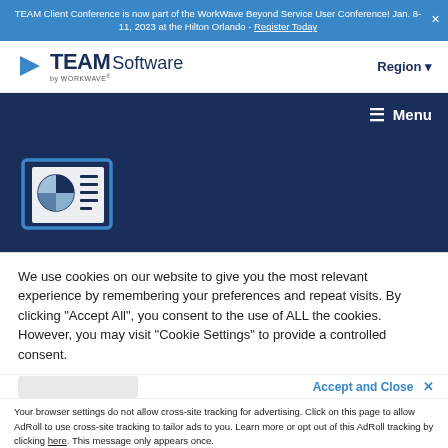TEAM Client Conference is now part of the WorkWave Beyond Service User Conference! Jan. 8-11, 2023 at the Hilton Orlando - Register Today
[Figure (logo): TEAM Software by WORKWAVE logo with blue arrow/play icon]
Region
Menu
[Figure (illustration): Dark navy hero panel with a report/pie chart icon illustration in the lower left]
We use cookies on our website to give you the most relevant experience by remembering your preferences and repeat visits. By clicking “Accept All”, you consent to the use of ALL the cookies. However, you may visit “Cookie Settings” to provide a controlled consent.
Accept and Close ×
Your browser settings do not allow cross-site tracking for advertising. Click on this page to allow AdRoll to use cross-site tracking to tailor ads to you. Learn more or opt out of this AdRoll tracking by clicking here. This message only appears once.